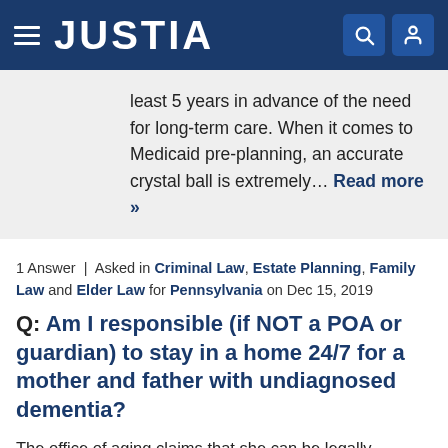JUSTIA
least 5 years in advance of the need for long-term care. When it comes to Medicaid pre-planning, an accurate crystal ball is extremely… Read more »
1 Answer | Asked in Criminal Law, Estate Planning, Family Law and Elder Law for Pennsylvania on Dec 15, 2019
Q: Am I responsible (if NOT a POA or guardian) to stay in a home 24/7 for a mother and father with undiagnosed dementia?
The office of aging claims that she can be legally responsible for them (mother and father). She DOES want to be helpful and a good daughter but does she need to be there 24/7? She has had to leave her job and is staying at their home. This is all until the